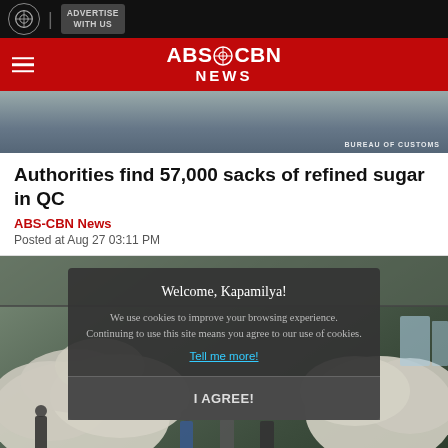ABS-CBN NEWS | ADVERTISE WITH US
[Figure (screenshot): ABS-CBN News website header with red background, hamburger menu, and ABS-CBN News logo in white text]
[Figure (photo): Small image strip showing what appears to be a building interior, with BUREAU OF CUSTOMS watermark]
Authorities find 57,000 sacks of refined sugar in QC
ABS-CBN News
Posted at Aug 27 03:11 PM
[Figure (photo): Warehouse photo showing large stacks of sugar sacks with people walking, overlaid with a cookie consent dialog that says: Welcome, Kapamilya! We use cookies to improve your browsing experience. Continuing to use this site means you agree to our use of cookies. Tell me more! | I AGREE!]